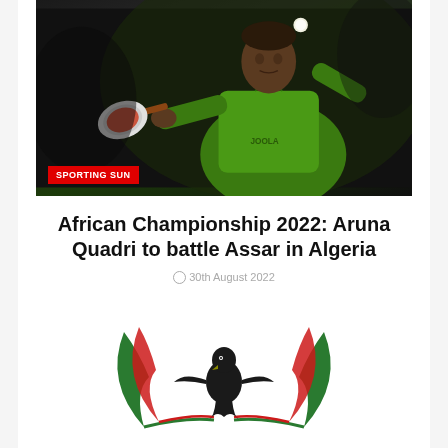[Figure (photo): A table tennis player wearing a green JOOLA jersey mid-swing, hitting a ball against a dark background. The player is Nigerian.]
African Championship 2022: Aruna Quadri to battle Assar in Algeria
30th August 2022
[Figure (logo): Nigerian coat of arms style logo with red and green wing-like shapes and a black eagle in the center]